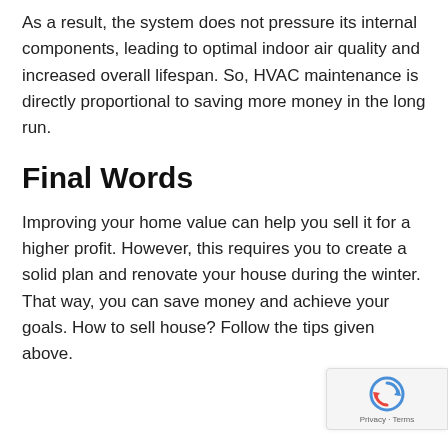As a result, the system does not pressure its internal components, leading to optimal indoor air quality and increased overall lifespan. So, HVAC maintenance is directly proportional to saving more money in the long run.
Final Words
Improving your home value can help you sell it for a higher profit. However, this requires you to create a solid plan and renovate your house during the winter. That way, you can save money and achieve your goals. How to sell house? Follow the tips given above.